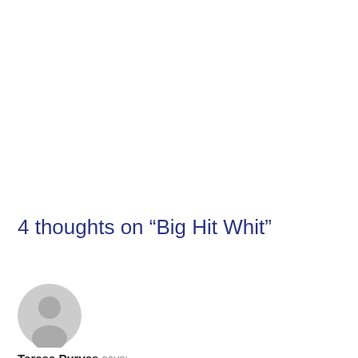4 thoughts on “Big Hit Whit”
[Figure (illustration): Gray circular user avatar icon with silhouette of a person]
Teresa Purves says:
Way to go Whit!!! Congratulations and best wishes